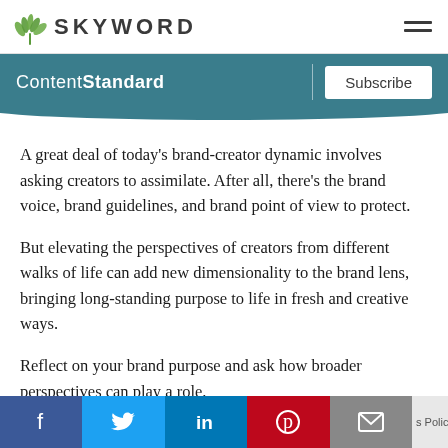SKYWORD
[Figure (logo): Skyword logo with green leaf/wheat icon and SKYWORD text in spaced caps]
[Figure (other): Hamburger menu icon (three horizontal lines)]
[Figure (infographic): Teal navigation banner with 'ContentStandard' text on left, vertical divider, and 'Subscribe' button on right]
A great deal of today's brand-creator dynamic involves asking creators to assimilate. After all, there's the brand voice, brand guidelines, and brand point of view to protect.
But elevating the perspectives of creators from different walks of life can add new dimensionality to the brand lens, bringing long-standing purpose to life in fresh and creative ways.
Reflect on your brand purpose and ask how broader perspectives can play a role.
[Figure (infographic): Social share bar with Facebook (blue), Twitter (light blue), LinkedIn (dark blue), Pinterest (red), and Email (gray) buttons]
s Policy